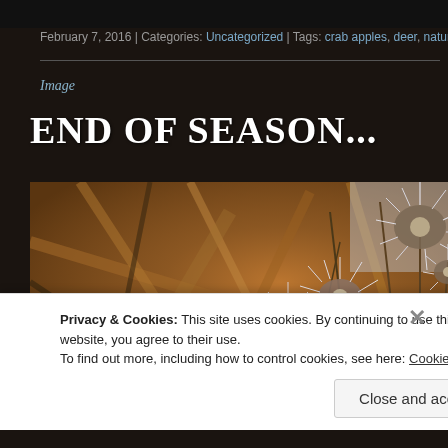February 7, 2016 | Categories: Uncategorized | Tags: crab apples, deer, nature, North
Image
END OF SEASON...
[Figure (photo): Close-up photo of dry thistle plants with white fluffy seed heads against a blurred rusty-brown background of branches]
Privacy & Cookies: This site uses cookies. By continuing to use this website, you agree to their use.
To find out more, including how to control cookies, see here: Cookie Policy
Close and accept